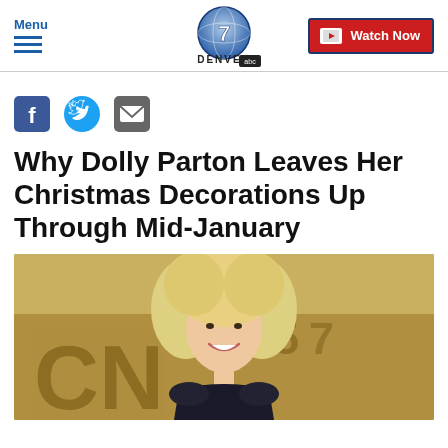Menu | Denver 7 ABC | Watch Now
[Figure (logo): Denver 7 ABC news logo - globe with number 7]
[Figure (other): Social share icons: Facebook, Twitter, Email]
Why Dolly Parton Leaves Her Christmas Decorations Up Through Mid-January
[Figure (photo): Photo of Dolly Parton smiling with blonde hair, in front of CMA backdrop]